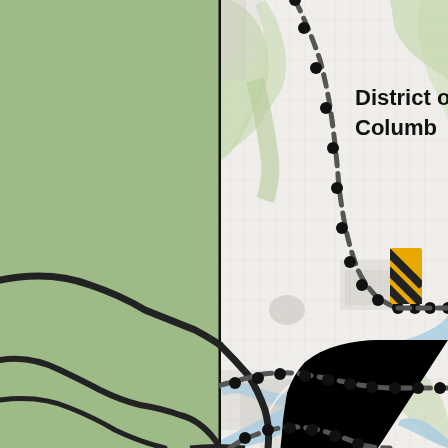[Figure (map): Map showing the District of Columbia area with transit routes marked by dashed lines with dots (stations), a thick black line showing a rail/road corridor, a blue river (Potomac), green areas (parks/Virginia), and a yellow-and-black striped hazard symbol on the right side.]